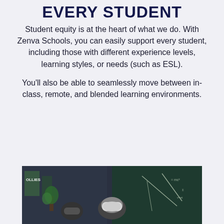EVERY STUDENT
Student equity is at the heart of what we do. With Zenva Schools, you can easily support every student, including those with different experience levels, learning styles, or needs (such as ESL).
You'll also be able to seamlessly move between in-class, remote, and blended learning environments.
[Figure (photo): Students using VR headsets in a classroom setting with a chalkboard in the background]